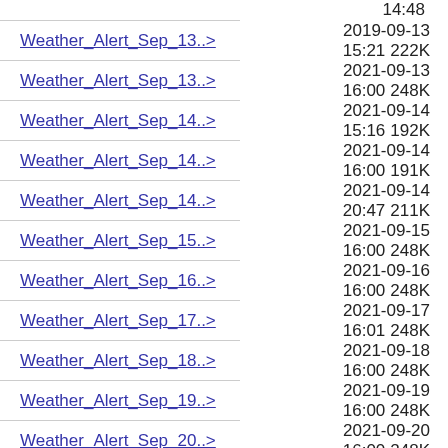14:48
Weather_Alert_Sep_13..>  2019-09-13 15:21  222K
Weather_Alert_Sep_13..>  2021-09-13 16:00  248K
Weather_Alert_Sep_14..>  2021-09-14 15:16  192K
Weather_Alert_Sep_14..>  2021-09-14 16:00  191K
Weather_Alert_Sep_14..>  2021-09-14 20:47  211K
Weather_Alert_Sep_15..>  2021-09-15 16:00  248K
Weather_Alert_Sep_16..>  2021-09-16 16:00  248K
Weather_Alert_Sep_17..>  2021-09-17 16:01  248K
Weather_Alert_Sep_18..>  2021-09-18 16:00  248K
Weather_Alert_Sep_19..>  2021-09-19 16:00  248K
Weather_Alert_Sep_20..>  2021-09-20 16:00  248K